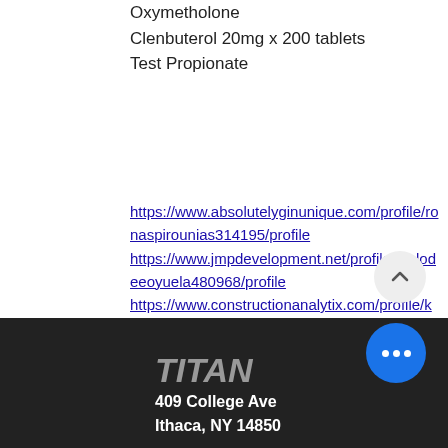Oxymetholone
Clenbuterol 20mg x 200 tablets
Test Propionate
https://www.absolutelyginunique.com/profile/ronaspirounias314195/profile
https://www.jmpdevelopment.net/profile/melodeeoyuela480968/profile
https://www.constructionanalytix.com/profile/kayladell16194/profile
https://www.drrobbie.org/profile/elwoodgalleher1315636/profile
409 College Ave
Ithaca, NY 14850